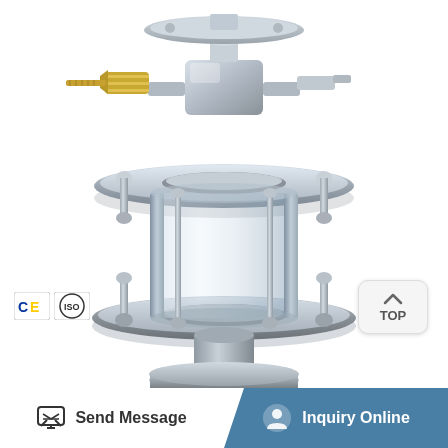[Figure (photo): Close-up photo of an industrial stainless steel flanged sight glass assembly with a transparent cylindrical glass section between two circular flanges, held together by threaded bolts and nuts. A brass fitting and ball valve assembly is visible at the top. The background is white.]
[Figure (other): TOP navigation button — a small rounded rectangle with an upward chevron arrow icon and the text TOP beneath it, positioned at the right side of the photo.]
[Figure (logo): CE and ISO certification badge logos in the lower-left corner of the photo area.]
Send Message
Inquiry Online